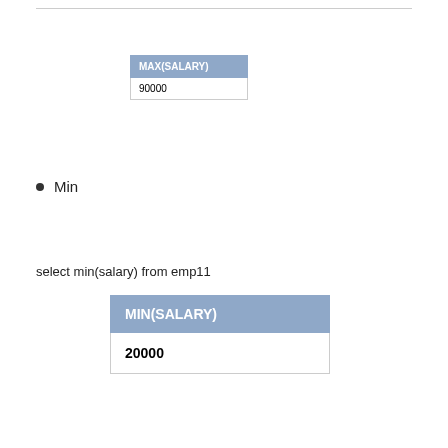| MAX(SALARY) |
| --- |
| 90000 |
Min
select min(salary) from emp11
| MIN(SALARY) |
| --- |
| 20000 |